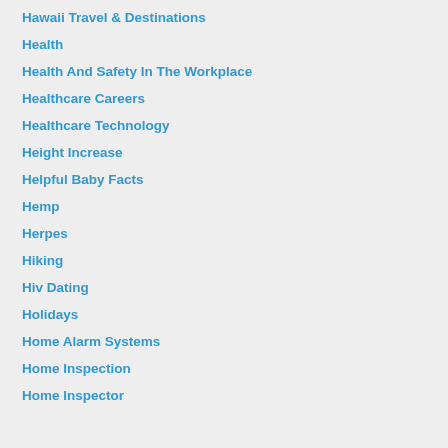Hawaii Travel & Destinations
Health
Health And Safety In The Workplace
Healthcare Careers
Healthcare Technology
Height Increase
Helpful Baby Facts
Hemp
Herpes
Hiking
Hiv Dating
Holidays
Home Alarm Systems
Home Inspection
Home Inspector